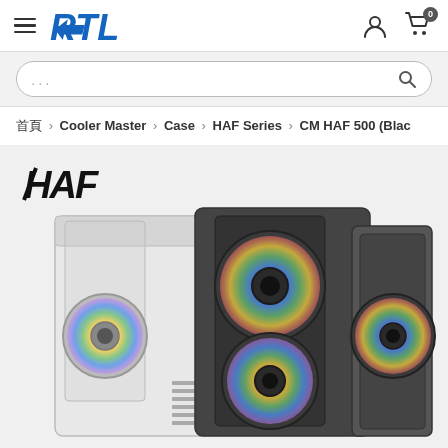RTL — Navigation header with hamburger menu, RTL logo, user icon, cart icon (0 items)
...
首頁 > Cooler Master > Case > HAF Series > CM HAF 500 (Blac...
[Figure (logo): HAF brand logo in bold black italic font]
[Figure (photo): CM HAF 500 PC cases in white and black/grey colors showing RGB fans through mesh front panel]